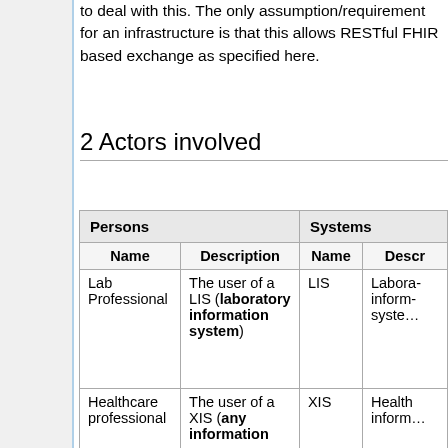to deal with this. The only assumption/requirement for an infrastructure is that this allows RESTful FHIR based exchange as specified here.
2 Actors involved
| ['Persons', ''] | ['Systems', ''] | ['Name', 'Description', 'Name', 'Descr'] |
| --- | --- | --- |
| Lab Professional | The user of a LIS (laboratory information system) | LIS | Laboratory information system |
| Healthcare professional | The user of a XIS (any information | XIS | Health information |